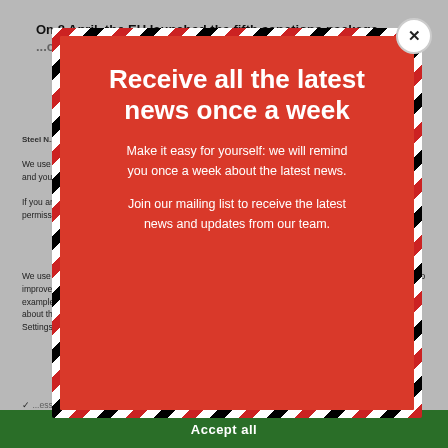On 8 April, the EU launched the fifth sanctions package
Steel N...
We use cookies on our website. Some of them are essential, while others help us to improve this website and your experience.
If you are under 16 and wish to give consent to optional services, you must ask your legal guardians for permission.
We use cookies and other technologies on our website. Some of them are essential, while others help us to improve this website and your experience. Personal data may be processed (e.g. IP addresses), for example for personalized ads and content or ad and content measurement. You can find more information about the use of your data in our privacy policy. You can revoke or adjust your selection at any time under Settings.
Privacy Preference
[Figure (infographic): Modal popup overlay with diagonal red, white, and black striped border. Contains title 'Receive all the latest news once a week', subtitle text, body text, and a close button (X) in top right corner.]
Receive all the latest news once a week
Make it easy for yourself: we will remind you once a week about the latest news.
Join our mailing list to receive the latest news and updates from our team.
Accept all